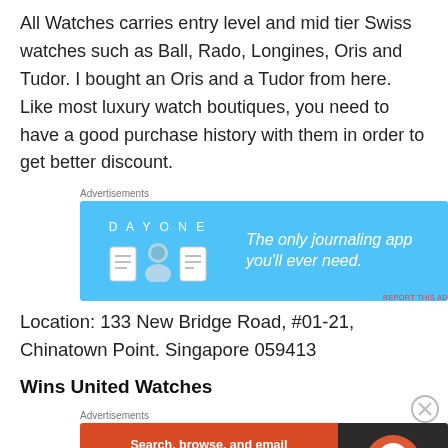All Watches carries entry level and mid tier Swiss watches such as Ball, Rado, Longines, Oris and Tudor. I bought an Oris and a Tudor from here. Like most luxury watch boutiques, you need to have a good purchase history with them in order to get better discount.
[Figure (other): Day One journaling app advertisement banner with blue background, showing app icons and text 'The only journaling app you'll ever need.']
Location: 133 New Bridge Road, #01-21, Chinatown Point. Singapore 059413
Wins United Watches
[Figure (other): DuckDuckGo advertisement banner with orange/dark background, text 'Search, browse, and email with more privacy. All in One Free App' and DuckDuckGo logo]